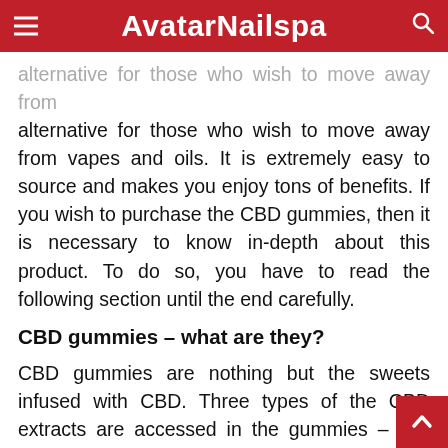AvatarNailspa
alternative for those who wish to move away from vapes and oils. It is extremely easy to source and makes you enjoy tons of benefits. If you wish to purchase the CBD gummies, then it is necessary to know in-depth about this product. To do so, you have to read the following section until the end carefully.
CBD gummies – what are they?
CBD gummies are nothing but the sweets infused with CBD. Three types of the CBD extracts are accessed in the gummies – Full spectrum, broad-spectrum, and isolate. Every extract has specific characteristics and advantages. CBD is gummies contain only cannabidiol whereas the